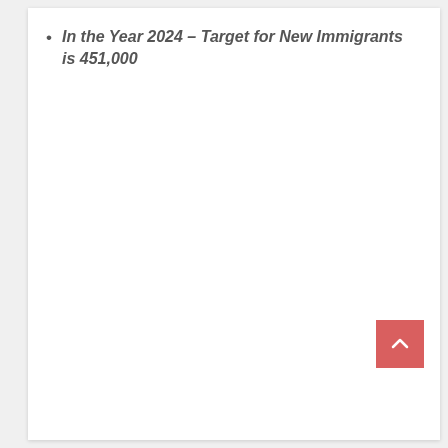In the Year 2024 – Target for New Immigrants is 451,000